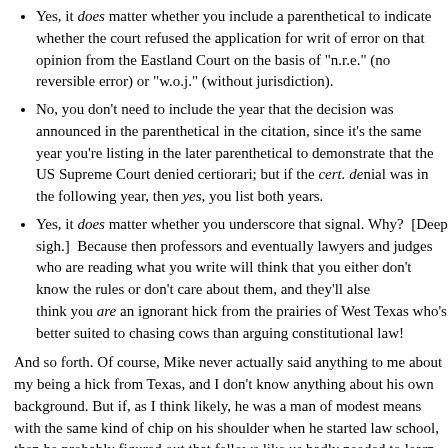Yes, it does matter whether you include a parenthetical to indicate whether the court refused the application for writ of error on that opinion from the Eastland Court on the basis of "n.r.e." (no reversible error) or "w.o.j." (without jurisdiction).
No, you don't need to include the year that the decision was announced in the parenthetical in the citation, since it's the same year you're listing in the later parenthetical to demonstrate that the US Supreme Court denied certiorari; but if the cert. denial was in the following year, then yes, you list both years.
Yes, it does matter whether you underscore that signal. Why? [Deep sigh.] Because then professors and eventually lawyers and judges who are reading what you write will think that you either don't know the rules or don't care about them, and they'll also think you are an ignorant hick from the prairies of West Texas who's better suited to chasing cows than arguing constitutional law!
And so forth. Of course, Mike never actually said anything to me about my being a hick from Texas, and I don't know anything about his own background. But if, as I think likely, he was a man of modest means with the same kind of chip on his shoulder when he started law school, then he probably figured out that fellows like us badly needed to learn this sort of stuff cold, to outdo the Ivy Leaguers and the well-connected who populated the seas in which we were swimming.
I realize now that compared to, say, medical school, law school has comparatively little memorization. But this was the worst of what we had, and it simply had to not only be learned but absorbed. Fluency in these rules is essential, because a lack of it is the quickest way to lose credibility as a legal writer. As I learned later, snobbish law clerks for appellate courts can be extremely harsh critics of such formalities, assessing disproportionate subject